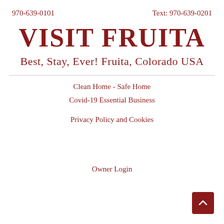970-639-0101    Text: 970-639-0201
VISIT FRUITA
Best, Stay, Ever! Fruita, Colorado USA
Clean Home - Safe Home
Covid-19 Essential Business
Privacy Policy and Cookies
Owner Login
[Figure (other): Scroll-to-top button: dark red rounded square with upward chevron arrow]